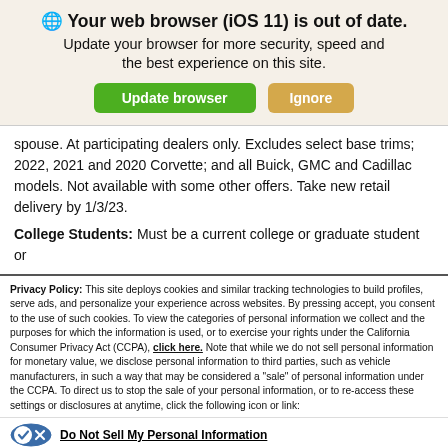[Figure (screenshot): Browser update banner with globe icon, bold title 'Your web browser (iOS 11) is out of date.', subtitle 'Update your browser for more security, speed and the best experience on this site.', and two buttons: 'Update browser' (green) and 'Ignore' (gold/orange).]
spouse. At participating dealers only. Excludes select base trims; 2022, 2021 and 2020 Corvette; and all Buick, GMC and Cadillac models. Not available with some other offers. Take new retail delivery by 1/3/23.
College Students: Must be a current college or graduate student or
Privacy Policy: This site deploys cookies and similar tracking technologies to build profiles, serve ads, and personalize your experience across websites. By pressing accept, you consent to the use of such cookies. To view the categories of personal information we collect and the purposes for which the information is used, or to exercise your rights under the California Consumer Privacy Act (CCPA), click here. Note that while we do not sell personal information for monetary value, we disclose personal information to third parties, such as vehicle manufacturers, in such a way that may be considered a "sale" of personal information under the CCPA. To direct us to stop the sale of your personal information, or to re-access these settings or disclosures at anytime, click the following icon or link:
[Figure (logo): Do Not Sell My Personal Information icon: blue oval with checkmark and X, followed by underlined bold text 'Do Not Sell My Personal Information']
Language: English ∨ Powered by ComplyAuto
[Figure (screenshot): Action bar with blue 'Accept and Continue →' button, 'California Privacy Disclosures' outlined button, and a close (X) circle button]